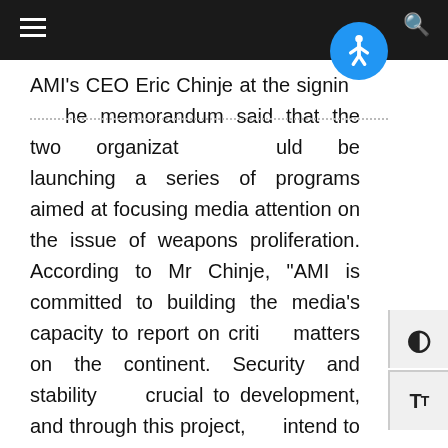Navigation bar with hamburger menu and search icon
AMI's CEO Eric Chinje at the signing of the memorandum said that the two organizations would be launching a series of programs aimed at focusing media attention on the issue of weapons proliferation. According to Mr Chinje, “AMI is committed to building the media’s capacity to report on critical matters on the continent. Security and stability are crucial to development, and through this project, we intend to cultivate a network of well informed journalists who can adequately cover the issue of small arms and weapons proliferation.”
The two organizations have recognized conflicts as the bane of Africa as it continues to hinder the social and economic development of the continent, hence